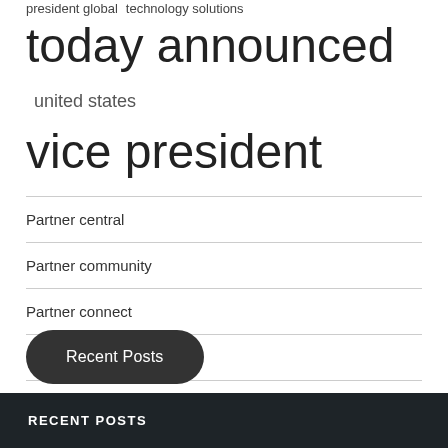president global   technology solutions
today announced   united states
vice president
Partner central
Partner community
Partner connect
Partner status
Recent Posts
RECENT POSTS